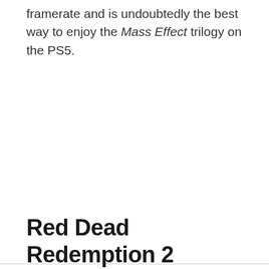framerate and is undoubtedly the best way to enjoy the Mass Effect trilogy on the PS5.
Red Dead Redemption 2